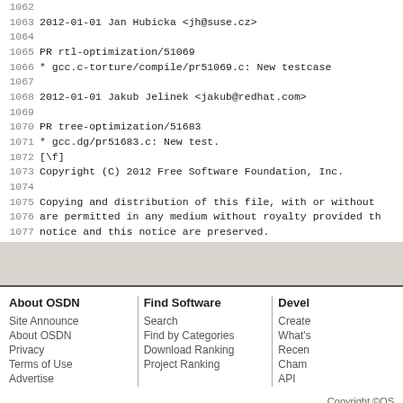1062
1063 2012-01-01  Jan Hubicka  <jh@suse.cz>
1064
1065         PR rtl-optimization/51069
1066         * gcc.c-torture/compile/pr51069.c: New testcase
1067
1068 2012-01-01  Jakub Jelinek  <jakub@redhat.com>
1069
1070         PR tree-optimization/51683
1071         * gcc.dg/pr51683.c: New test.
1072 [\f]
1073 Copyright (C) 2012 Free Software Foundation, Inc.
1074
1075 Copying and distribution of this file, with or without
1076 are permitted in any medium without royalty provided th
1077 notice and this notice are preserved.
About OSDN
Site Announce
About OSDN
Privacy
Terms of Use
Advertise
Find Software
Search
Find by Categories
Download Ranking
Project Ranking
Devel
Create
What's
Recen
Cham
API
Copyright ©OS